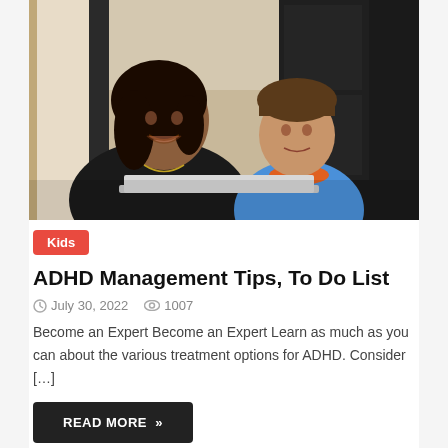[Figure (photo): A woman and a young boy sitting together in front of a laptop computer, both looking at the camera. The woman wears a black top and the boy wears a blue shirt with an orange collar.]
Kids
ADHD Management Tips, To Do List
July 30, 2022   1007
Become an Expert Become an Expert Learn as much as you can about the various treatment options for ADHD. Consider […]
READ MORE »